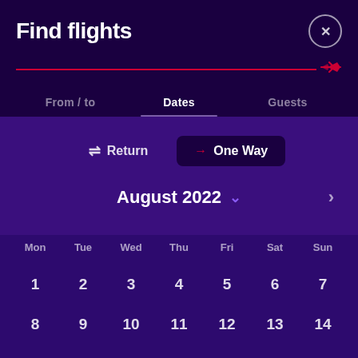Find flights
From / to | Dates | Guests
⇌ Return  → One Way
August 2022
Mon Tue Wed Thu Fri Sat Sun
1 2 3 4 5 6 7 8 9 10 11 12 13 14 15 16 17 18 19 20 21